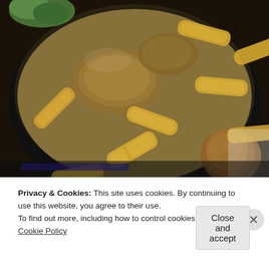[Figure (photo): Close-up photograph of penne pasta dish with mushrooms and sauce on a dark plate, with green garnish visible in the top-left corner]
Privacy & Cookies: This site uses cookies. By continuing to use this website, you agree to their use.
To find out more, including how to control cookies, see here: Cookie Policy
Close and accept